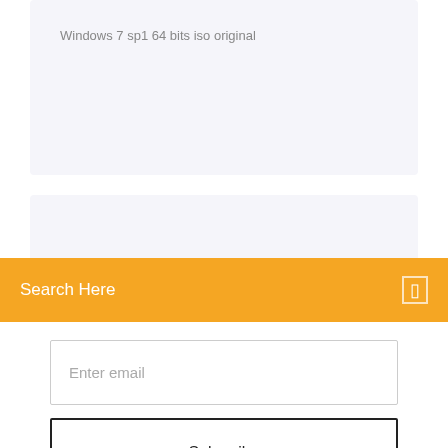Windows 7 sp1 64 bits iso original
[Figure (screenshot): Search bar widget with orange/yellow background showing 'Search Here' text and a search icon on the right]
Enter email
Subscribe